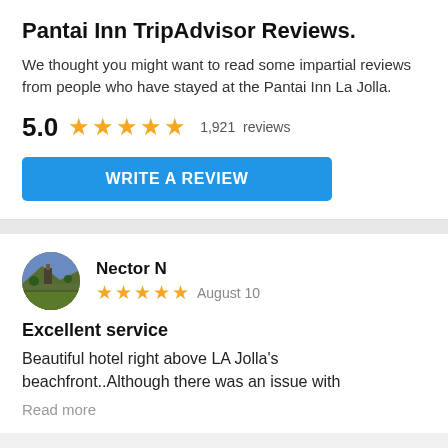Pantai Inn TripAdvisor Reviews.
We thought you might want to read some impartial reviews from people who have stayed at the Pantai Inn La Jolla.
5.0 ★★★★★ 1,921 reviews
WRITE A REVIEW
Nector N
★★★★★ August 10
Excellent service
Beautiful hotel right above LA Jolla's beachfront..Although there was an issue with
Read more